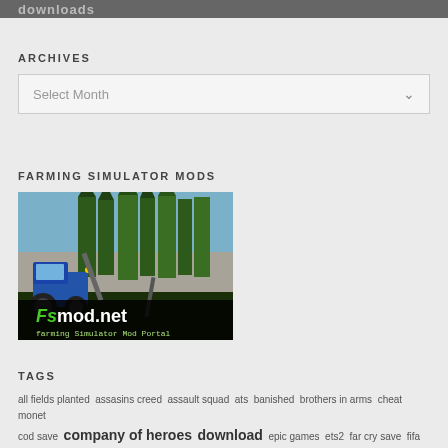downloads
ARCHIVES
Select Month
FARMING SIMULATOR MODS
[Figure (screenshot): Fsmod.net banner image showing a blue tractor in a forest scene with text 'Fsmod.net farming Simulator Mod Portal']
TAGS
all fields planted assasins creed assault squad ats banished brothers in arms cheat monet cod save company of heroes download epic games ets2 far cry save fifa 18